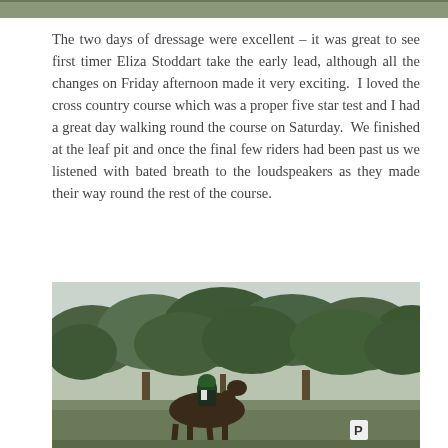[Figure (photo): Cropped top strip of a photo showing green/olive tones, partial image at top of page]
The two days of dressage were excellent – it was great to see first timer Eliza Stoddart take the early lead, although all the changes on Friday afternoon made it very exciting.  I loved the cross country course which was a proper five star test and I had a great day walking round the course on Saturday.  We finished at the leaf pit and once the final few riders had been past us we listened with bated breath to the loudspeakers as they made their way round the rest of the course.
[Figure (photo): Photo of a horse and rider in cross country gear (green helmet, dark jacket) jumping or riding through a wooded area with dense green trees in the background. A white letter P marker is visible in the lower right area.]